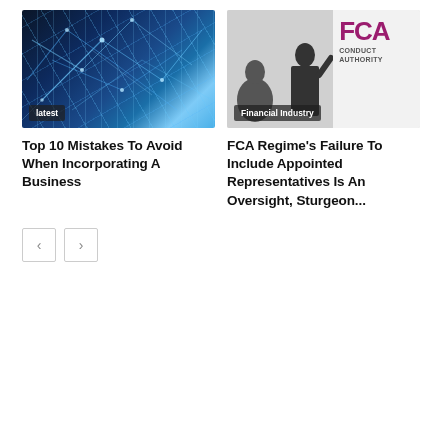[Figure (photo): Abstract blue neural network / digital technology image with glowing light lines]
latest
Top 10 Mistakes To Avoid When Incorporating A Business
[Figure (photo): FCA (Financial Conduct Authority) logo sign with silhouetted people in foreground]
Financial Industry
FCA Regime's Failure To Include Appointed Representatives Is An Oversight, Sturgeon...